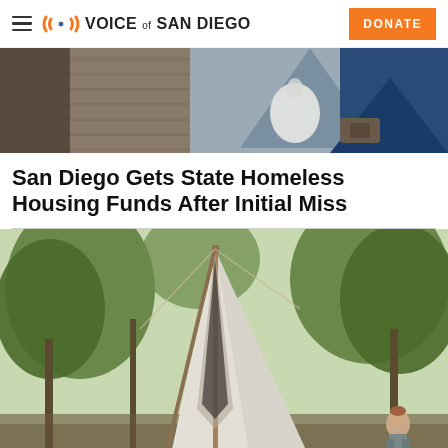Voice of San Diego — DONATE
[Figure (photo): Partial view of a homeless encampment with a tent, plastic bag, and belongings on a sidewalk/wooden surface]
San Diego Gets State Homeless Housing Funds After Initial Miss
[Figure (photo): A large canvas tent/teepee structure among trees with a person visible in the lower right, in an outdoor encampment setting]